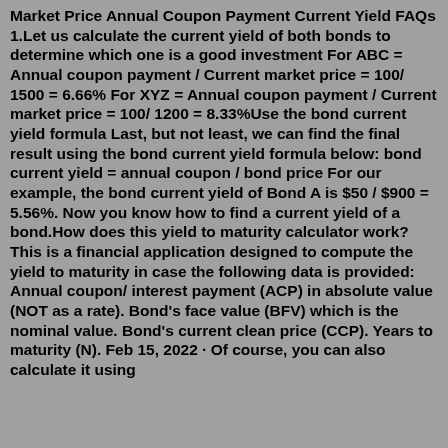Market Price Annual Coupon Payment Current Yield FAQs 1.Let us calculate the current yield of both bonds to determine which one is a good investment For ABC = Annual coupon payment / Current market price = 100/ 1500 = 6.66% For XYZ = Annual coupon payment / Current market price = 100/ 1200 = 8.33%Use the bond current yield formula Last, but not least, we can find the final result using the bond current yield formula below: bond current yield = annual coupon / bond price For our example, the bond current yield of Bond A is $50 / $900 = 5.56%. Now you know how to find a current yield of a bond.How does this yield to maturity calculator work? This is a financial application designed to compute the yield to maturity in case the following data is provided: Annual coupon/ interest payment (ACP) in absolute value (NOT as a rate). Bond's face value (BFV) which is the nominal value. Bond's current clean price (CCP). Years to maturity (N). Feb 15, 2022 · Of course, you can also calculate it using